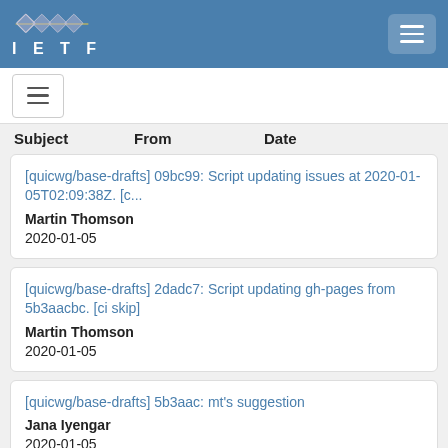IETF
[quicwg/base-drafts] 09bc99: Script updating issues at 2020-01-05T02:09:38Z. [c...
Martin Thomson
2020-01-05
[quicwg/base-drafts] 2dadc7: Script updating gh-pages from 5b3aacbc. [ci skip]
Martin Thomson
2020-01-05
[quicwg/base-drafts] 5b3aac: mt's suggestion
Jana Iyengar
2020-01-05
[quicwg/base-drafts] Note that initial packets coalesced with other packets to make a 1200 byte